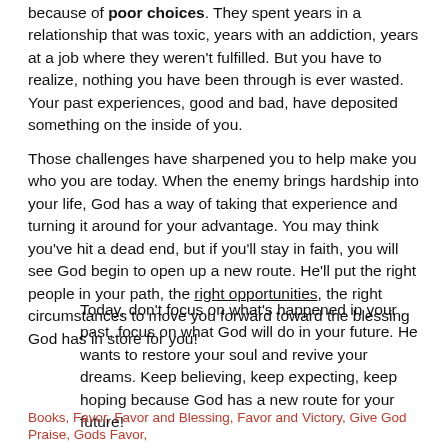because of poor choices. They spent years in a relationship that was toxic, years with an addiction, years at a job where they weren't fulfilled. But you have to realize, nothing you have been through is ever wasted. Your past experiences, good and bad, have deposited something on the inside of you.
Those challenges have sharpened you to help make you who you are today. When the enemy brings hardship into your life, God has a way of taking that experience and turning it around for your advantage. You may think you've hit a dead end, but if you'll stay in faith, you will see God begin to open up a new route. He'll put the right people in your path, the right opportunities, the right circumstances to move you forward toward the blessing God has in store for you!
Today, don't focus on what's happened in your past, focus on what God will do in your future. He wants to restore your soul and revive your dreams. Keep believing, keep expecting, keep hoping because God has a new route for your future!
Books, Favor, Favor and Blessing, Favor and Victory, Give God Praise, Gods Favor,